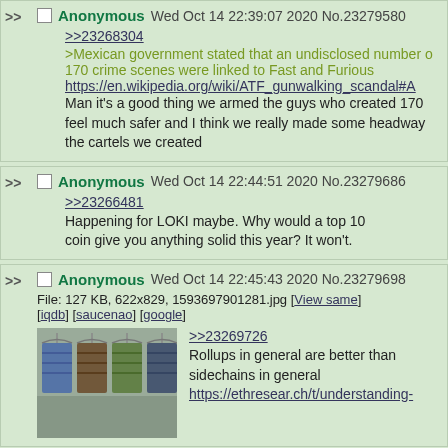>> Anonymous Wed Oct 14 22:39:07 2020 No.23279580
>>23268304
>Mexican government stated that an undisclosed number of 170 crime scenes were linked to Fast and Furious
https://en.wikipedia.org/wiki/ATF_gunwalking_scandal#A
Man it's a good thing we armed the guys who created 170 feel much safer and I think we really made some headway the cartels we created
>> Anonymous Wed Oct 14 22:44:51 2020 No.23279686
>>23266481
Happening for LOKI maybe. Why would a top 10 coin give you anything solid this year? It won't.
>> Anonymous Wed Oct 14 22:45:43 2020 No.23279698
File: 127 KB, 622x829, 1593697901281.jpg [View same] [iqdb] [saucenao] [google]
>>23269726
Rollups in general are better than sidechains in general
https://ethresear.ch/t/understanding-